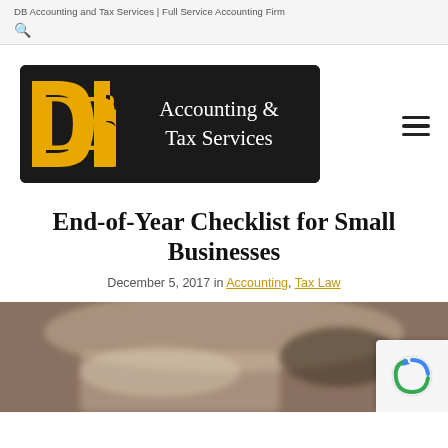DB Accounting and Tax Services | Full Service Accounting Firm
[Figure (logo): DB Accounting & Tax Services logo: golden DB letters on black background with white serif text 'Accounting & Tax Services']
End-of-Year Checklist for Small Businesses
December 5, 2017 in Accounting, Tax Law
[Figure (photo): Photo of a person handling papers/documents, blurred background]